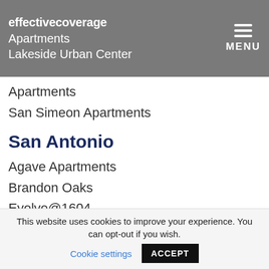effective coverage | Apartments | Lakeside Urban Center | MENU
Apartments
San Simeon Apartments
San Antonio
Agave Apartments
Brandon Oaks
Evolve@1604
Oaks of Northgate
Sundance
This website uses cookies to improve your experience. You can opt-out if you wish. Cookie settings ACCEPT